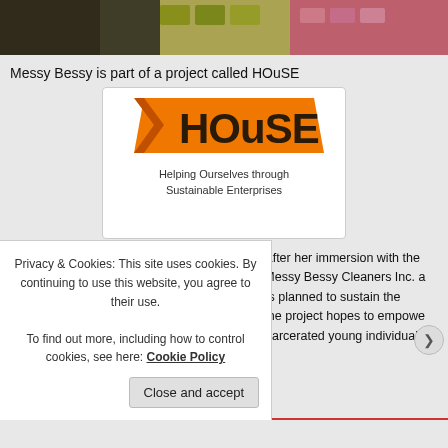[Figure (photo): Photo strip showing people at an event with products displayed]
Messy Bessy is part of a project called HOuSE
[Figure (logo): HOuSE logo - orange house shape with text 'HOuSE' and subtitle 'Helping Ourselves through Sustainable Enterprises']
Krie Reyes Lopez started the project in 2006 after her immersion with the Delancey Street Foundation and developed Messy Bessy Cleaners Inc. as one of the first of numerous enterprises she has planned to sustain the rehabilitation of disadvantaged young adults. the project hopes to empower and provide formerly abandoned, abused or incarcerated young individuals
Privacy & Cookies: This site uses cookies. By continuing to use this website, you agree to their use.
To find out more, including how to control cookies, see here: Cookie Policy
Close and accept